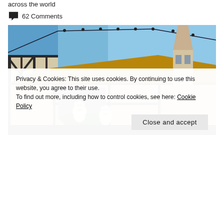across the world
62 Comments
[Figure (photo): Half-timbered building with two white teddy bears sitting in a window decorated with greenery, Christmas lights strung across a blue sky, and a church steeple visible in the background.]
Privacy & Cookies: This site uses cookies. By continuing to use this website, you agree to their use.
To find out more, including how to control cookies, see here: Cookie Policy
Close and accept